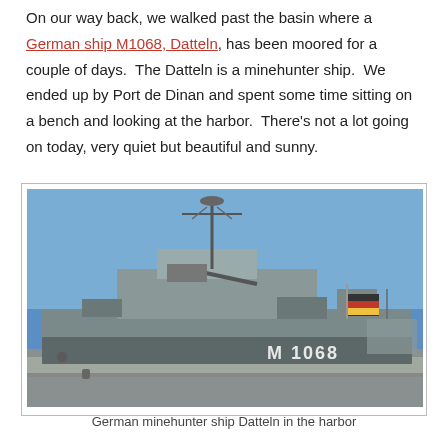On our way back, we walked past the basin where a German ship M1068, Datteln, has been moored for a couple of days.  The Datteln is a minehunter ship.  We ended up by Port de Dinan and spent some time sitting on a bench and looking at the harbor.  There's not a lot going on today, very quiet but beautiful and sunny.
[Figure (photo): Photograph of German minehunter ship M 1068 Datteln moored at a harbor dock. The grey naval vessel is shown with radar masts, deck equipment, a German flag visible on the stern, and 'M 1068' painted on the hull. Blue sky in background.]
German minehunter ship Datteln in the harbor